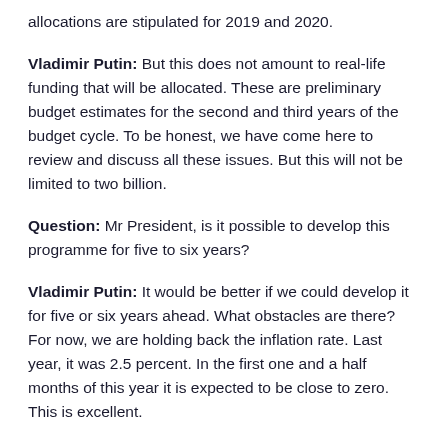allocations are stipulated for 2019 and 2020.
Vladimir Putin: But this does not amount to real-life funding that will be allocated. These are preliminary budget estimates for the second and third years of the budget cycle. To be honest, we have come here to review and discuss all these issues. But this will not be limited to two billion.
Question: Mr President, is it possible to develop this programme for five to six years?
Vladimir Putin: It would be better if we could develop it for five or six years ahead. What obstacles are there? For now, we are holding back the inflation rate. Last year, it was 2.5 percent. In the first one and a half months of this year it is expected to be close to zero. This is excellent.
But we do not know what happens next with the global markets and currency fluctuations – not only our currency but